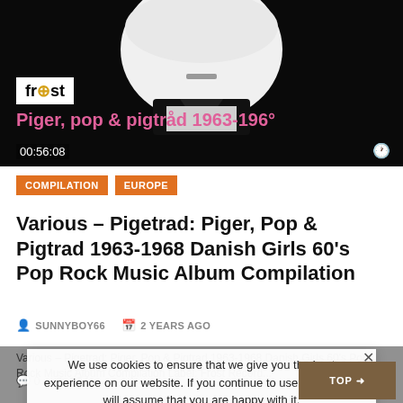[Figure (screenshot): Video thumbnail showing album cover for Pigetrad: Piger, pop & pigtråd 1963-196° with 'frost' logo, pink text, face illustration, and timestamp 00:56:08]
COMPILATION   EUROPE
Various – Pigetrad: Piger, Pop & Pigtrad 1963-1968 Danish Girls 60's Pop Rock Music Album Compilation
SUNNYBOY66   2 YEARS AGO
Various – Pigetrad: Piger, Pop & Pigtrad 1963-1968 Danish Girls 60's Pop Rock Music Album Compilation Label: Frost Record...
We use cookies to ensure that we give you the best experience on our website. If you continue to use this site we will assume that you are happy with it.
Ok   No   Privacy policy
0   674